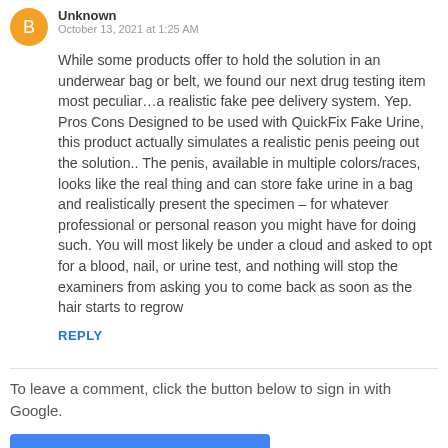Unknown · October 13, 2021 at 1:25 AM
While some products offer to hold the solution in an underwear bag or belt, we found our next drug testing item most peculiar...a realistic fake pee delivery system. Yep. Pros Cons Designed to be used with QuickFix Fake Urine, this product actually simulates a realistic penis peeing out the solution.. The penis, available in multiple colors/races, looks like the real thing and can store fake urine in a bag and realistically present the specimen – for whatever professional or personal reason you might have for doing such. You will most likely be under a cloud and asked to opt for a blood, nail, or urine test, and nothing will stop the examiners from asking you to come back as soon as the hair starts to regrow
REPLY
To leave a comment, click the button below to sign in with Google.
SIGN IN WITH GOOGLE